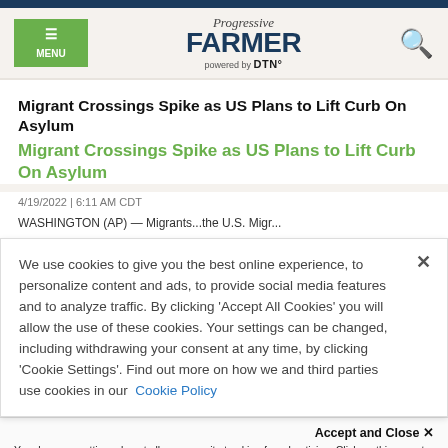Progressive FARMER powered by DTN
Migrant Crossings Spike as US Plans to Lift Curb On Asylum
Migrant Crossings Spike as US Plans to Lift Curb On Asylum
4/19/2022 | 6:11 AM CDT
WASHINGTON (AP) — Migrants...the U.S. Migr...
We use cookies to give you the best online experience, to personalize content and ads, to provide social media features and to analyze traffic. By clicking 'Accept All Cookies' you will allow the use of these cookies. Your settings can be changed, including withdrawing your consent at any time, by clicking 'Cookie Settings'. Find out more on how we and third parties use cookies in our Cookie Policy
Accept and Close ×
Your browser settings do not allow cross-site tracking for advertising. Click on this page to allow AdRoll to use cross-site tracking to tailor ads to you. Learn more or opt out of this AdRoll tracking by clicking here. This message only appears once.